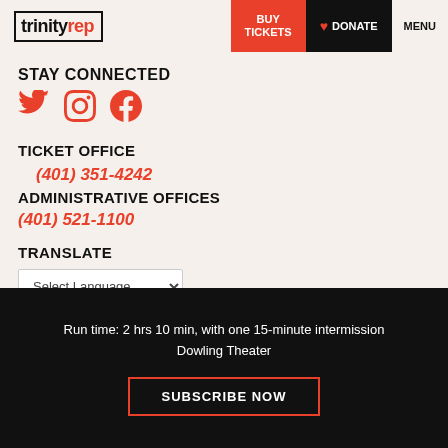trinity rep — BUY TICKETS | DONATE | MENU
STAY CONNECTED
[Figure (illustration): Three social media icons: Twitter bird, Instagram camera, Facebook f — all in red/coral color]
TICKET OFFICE
(401) 351-4242
ADMINISTRATIVE OFFICES
(401) 521-1100
TRANSLATE
Select Language
Run time: 2 hrs 10 min, with one 15-minute intermission
Dowling Theater
SUBSCRIBE NOW